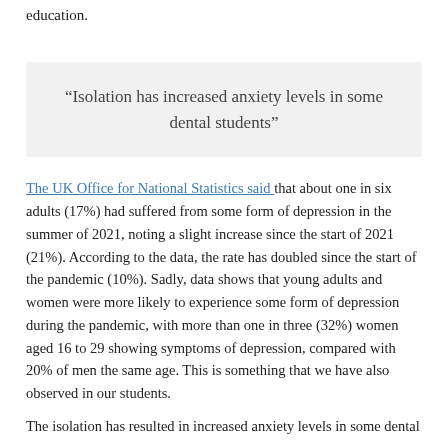education.
“Isolation has increased anxiety levels in some dental students”
The UK Office for National Statistics said that about one in six adults (17%) had suffered from some form of depression in the summer of 2021, noting a slight increase since the start of 2021 (21%). According to the data, the rate has doubled since the start of the pandemic (10%). Sadly, data shows that young adults and women were more likely to experience some form of depression during the pandemic, with more than one in three (32%) women aged 16 to 29 showing symptoms of depression, compared with 20% of men the same age. This is something that we have also observed in our students.
The isolation has resulted in increased anxiety levels in some dental